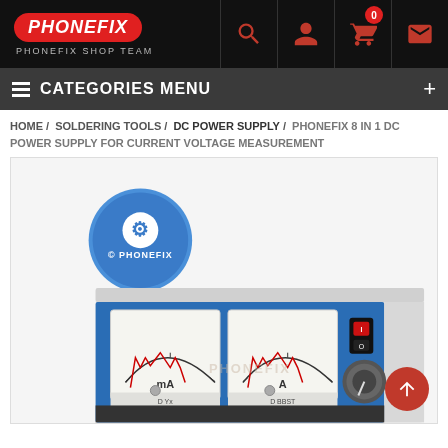PHONEFIX — PHONEFIX SHOP TEAM
CATEGORIES MENU
HOME / SOLDERING TOOLS / DC POWER SUPPLY / PHONEFIX 8 IN 1 DC POWER SUPPLY FOR CURRENT VOLTAGE MEASUREMENT
[Figure (photo): PHONEFIX 8 in 1 DC power supply unit with analog mA and A meters on front panel, red power switch, and control knob, shown with PHONEFIX logo watermark]